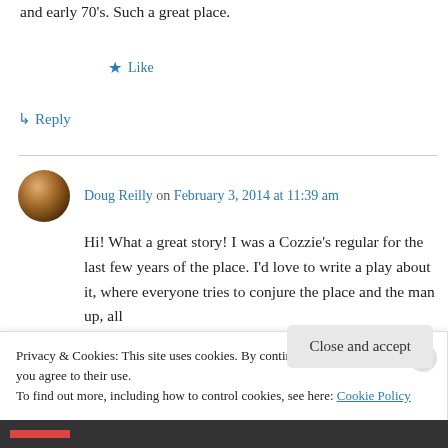and early 70's. Such a great place.
★ Like
↳ Reply
Doug Reilly on February 3, 2014 at 11:39 am
Hi! What a great story! I was a Cozzie's regular for the last few years of the place. I'd love to write a play about it, where everyone tries to conjure the place and the man up, all
Privacy & Cookies: This site uses cookies. By continuing to use this website, you agree to their use.
To find out more, including how to control cookies, see here: Cookie Policy
Close and accept